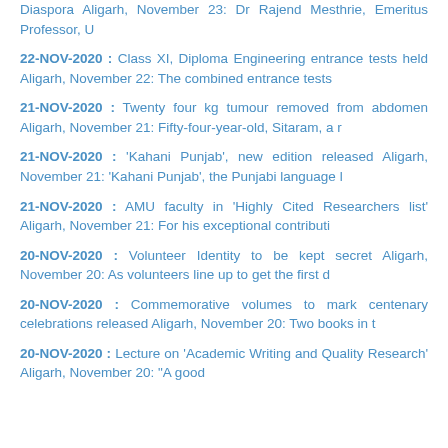Diaspora Aligarh, November 23: Dr Rajend Mesthrie, Emeritus Professor, U
22-NOV-2020 : Class XI, Diploma Engineering entrance tests held Aligarh, November 22: The combined entrance tests
21-NOV-2020 : Twenty four kg tumour removed from abdomen Aligarh, November 21: Fifty-four-year-old, Sitaram, a r
21-NOV-2020 : 'Kahani Punjab', new edition released Aligarh, November 21: 'Kahani Punjab', the Punjabi language l
21-NOV-2020 : AMU faculty in 'Highly Cited Researchers list' Aligarh, November 21: For his exceptional contributi
20-NOV-2020 : Volunteer Identity to be kept secret Aligarh, November 20: As volunteers line up to get the first d
20-NOV-2020 : Commemorative volumes to mark centenary celebrations released Aligarh, November 20: Two books in t
20-NOV-2020 : Lecture on 'Academic Writing and Quality Research' Aligarh, November 20: "A good